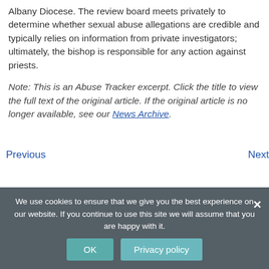Albany Diocese. The review board meets privately to determine whether sexual abuse allegations are credible and typically relies on information from private investigators; ultimately, the bishop is responsible for any action against priests.
Note: This is an Abuse Tracker excerpt. Click the title to view the full text of the original article. If the original article is no longer available, see our News Archive.
Previous   Next
We use cookies to ensure that we give you the best experience on our website. If you continue to use this site we will assume that you are happy with it.